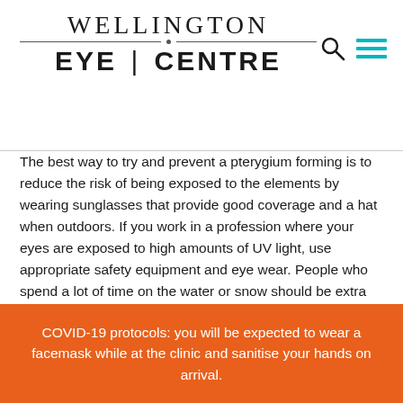[Figure (logo): Wellington Eye Centre logo with search and hamburger menu icons]
The best way to try and prevent a pterygium forming is to reduce the risk of being exposed to the elements by wearing sunglasses that provide good coverage and a hat when outdoors. If you work in a profession where your eyes are exposed to high amounts of UV light, use appropriate safety equipment and eye wear. People who spend a lot of time on the water or snow should be extra careful to protect their eyes from UV light. If you've already had a pterygium diagnosed, protecting your eyes from UV light can help limit the progression of grows.
COVID-19 protocols: you will be expected to wear a facemask while at the clinic and sanitise your hands on arrival.